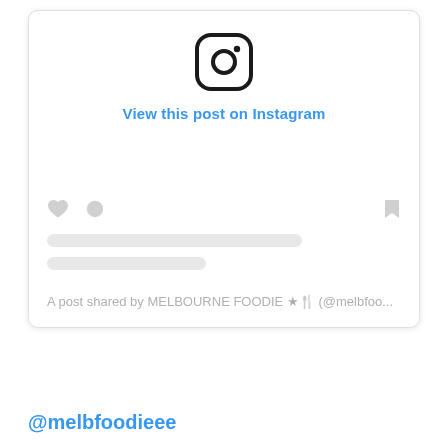[Figure (screenshot): Instagram embed card showing the Instagram logo, 'View this post on Instagram' link in blue, placeholder action icons (heart, comment, bookmark), two gray placeholder content lines, and attribution text 'A post shared by MELBOURNE FOODIE ★🍴 (@melbfoo...']
@melbfoodieee